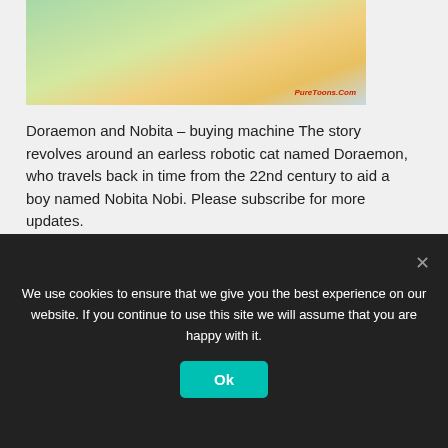[Figure (illustration): Cartoon image of Doraemon and Nobita from the anime series, with a PureToons.Com watermark]
Doraemon and Nobita – buying machine The story revolves around an earless robotic cat named Doraemon, who travels back in time from the 22nd century to aid a boy named Nobita Nobi. Please subscribe for more updates.
Read More
Lockdown ... the Arts & Culture // Re... // How To
We use cookies to ensure that we give you the best experience on our website. If you continue to use this site we will assume that you are happy with it.